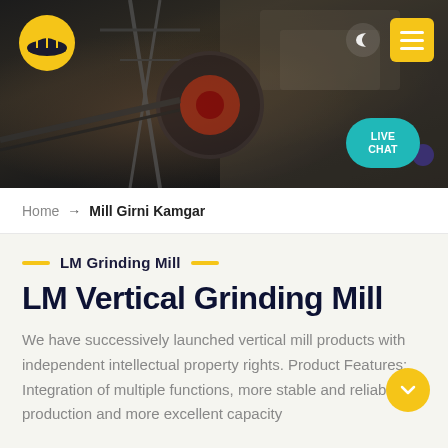[Figure (screenshot): Website header with dark industrial background showing mining/crushing equipment machinery, company logo (yellow hard hat icon) on the left, moon icon and yellow hamburger menu button on the top right, and a teal 'LIVE CHAT' bubble on the bottom right]
Home → Mill Girni Kamgar
LM Grinding Mill
LM Vertical Grinding Mill
We have successively launched vertical mill products with independent intellectual property rights. Product Features: Integration of multiple functions, more stable and reliable production and more excellent capacity